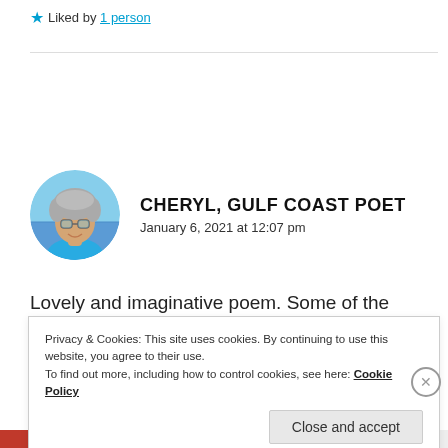★ Liked by 1 person
[Figure (photo): Circular avatar photo of a woman with curly gray hair and sunglasses, smiling, at a beach background with blue water]
CHERYL, GULF COAST POET
January 6, 2021 at 12:07 pm
Lovely and imaginative poem. Some of the elements
Privacy & Cookies: This site uses cookies. By continuing to use this website, you agree to their use.
To find out more, including how to control cookies, see here: Cookie Policy
Close and accept